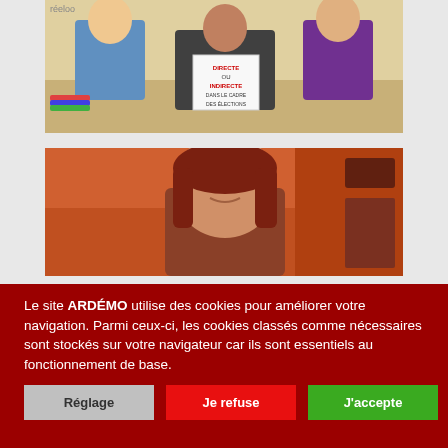[Figure (photo): TV show screenshot showing three people seated at a table in a studio. The middle person (woman with dark hair, black jacket) holds a sign reading 'DIRECTE OU INDIRECTE DANS LE CADRE DES ÉLECTIONS'. Left person wears blue shirt, right person wears purple t-shirt.]
[Figure (photo): Close-up TV screenshot of a woman with reddish-brown hair, smiling slightly, seated in a studio with orange/red background.]
Le site ARDÉMO utilise des cookies pour améliorer votre navigation. Parmi ceux-ci, les cookies classés comme nécessaires sont stockés sur votre navigateur car ils sont essentiels au fonctionnement de base.
Réglage
Je refuse
J'accepte